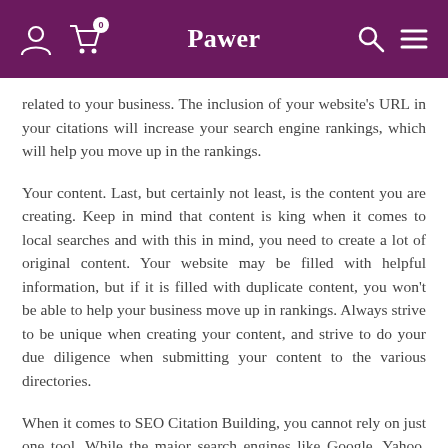Pawer
related to your business. The inclusion of your website's URL in your citations will increase your search engine rankings, which will help you move up in the rankings.
Your content. Last, but certainly not least, is the content you are creating. Keep in mind that content is king when it comes to local searches and with this in mind, you need to create a lot of original content. Your website may be filled with helpful information, but if it is filled with duplicate content, you won't be able to help your business move up in rankings. Always strive to be unique when creating your content, and strive to do your due diligence when submitting your content to the various directories.
When it comes to SEO Citation Building, you cannot rely on just one tool. While the major search engines like Google, Yahoo, and Bing are great for providing backlinks, they are not the only tools available. In fact, there are many other tools available, such as: free web directories, online article directories, social bookmarking sites, blog directories, aggregators, article syndication directories, social networking groups, press release aggregators, directory submissions, link brokers, link farms, blog